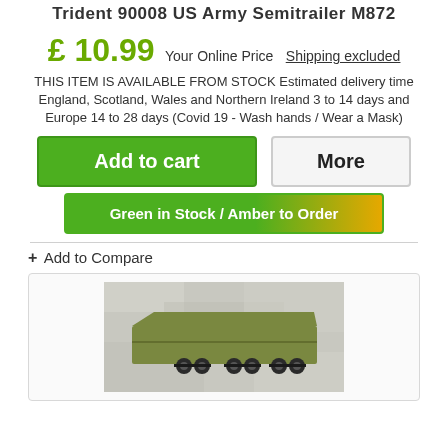Trident 90008 US Army Semitrailer M872
£ 10.99 Your Online Price  Shipping excluded
THIS ITEM IS AVAILABLE FROM STOCK Estimated delivery time England, Scotland, Wales and Northern Ireland 3 to 14 days and Europe 14 to 28 days (Covid 19 - Wash hands / Wear a Mask)
Add to cart
More
Green in Stock / Amber to Order
+ Add to Compare
[Figure (photo): Photo of a military green US Army semitrailer scale model (Trident M872) on a metallic surface]